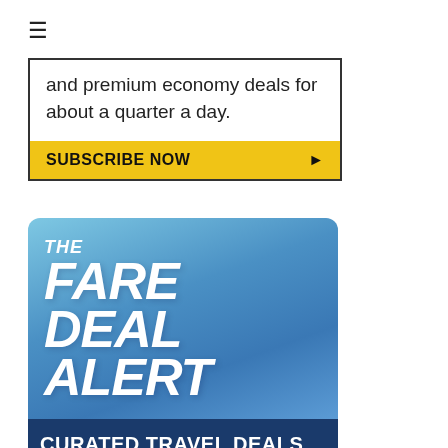≡
and premium economy deals for about a quarter a day.
SUBSCRIBE NOW ▶
[Figure (illustration): The Fare Deal Alert logo banner with blue gradient background. Large italic white bold text reads 'THE FARE DEAL ALERT'. Below is a dark blue section with 'CURATED TRAVEL DEALS' and city names: ATLANTA - CHARLOTTE - DENVER - DETROIT, HOUSTON - KANSAS CITY - LAS VEGAS, MINNEAPOLIS - ORLANDO - SAN DIEGO]
CURATED TRAVEL DEALS
ATLANTA - CHARLOTTE - DENVER - DETROIT
HOUSTON - KANSAS CITY - LAS VEGAS
MINNEAPOLIS - ORLANDO - SAN DIEGO